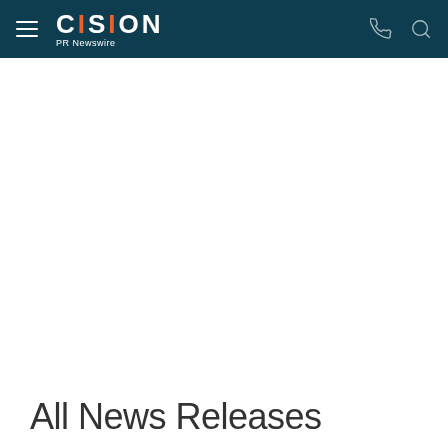CISION PR Newswire
All News Releases